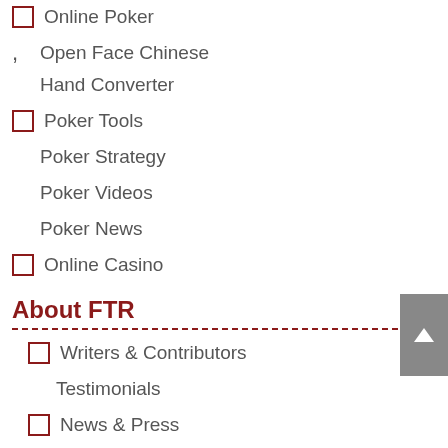Online Poker
Open Face Chinese
Hand Converter
Poker Tools
Poker Strategy
Poker Videos
Poker News
Online Casino
About FTR
Writers & Contributors
Testimonials
News & Press
Terms & Conditions
Contact Us